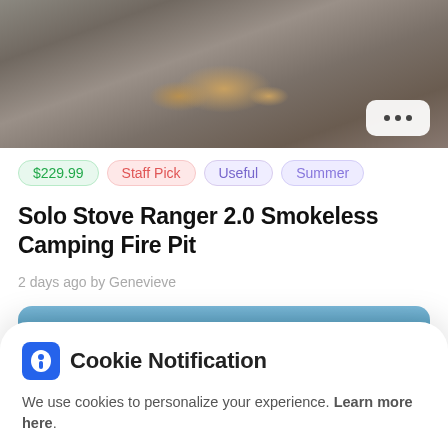[Figure (photo): Photo of firewood logs on gravel/rocky ground, top portion of product listing image]
$229.99  Staff Pick  Useful  Summer
Solo Stove Ranger 2.0 Smokeless Camping Fire Pit
2 days ago by Genevieve
[Figure (photo): Partial photo strip showing outdoor scene with blue sky and green trees]
Cookie Notification
We use cookies to personalize your experience. Learn more here.
I Don't Accept
I Accept